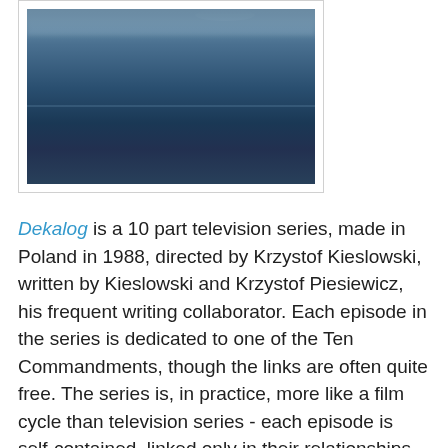[Figure (photo): A dark blue-toned photograph, appears to show a winter or overcast landscape/seascape scene with a horizon line visible.]
Dekalog is a 10 part television series, made in Poland in 1988, directed by Krzystof Kieslowski, written by Kieslowski and Krzystof Piesiewicz, his frequent writing collaborator. Each episode in the series is dedicated to one of the Ten Commandments, though the links are often quite free. The series is, in practice, more like a film cycle than television series - each episode is self-contained, linked only in their relationships to the commandments, and the setting, a large apartment complex in Warsaw. (And the filmmakers and crew.) Kieslowski conceived of the films as 10 separate films. He did not conform to TV conventions: recurring characters in an ongoing story; the need to pace the stories to match the way TV is watched, in the home, with the phone ringing and tea boiling and so on. Indeed, since 1989, Dekalog has been treated more like a film, or group of films, than as television. This is understandable: the films were distributed